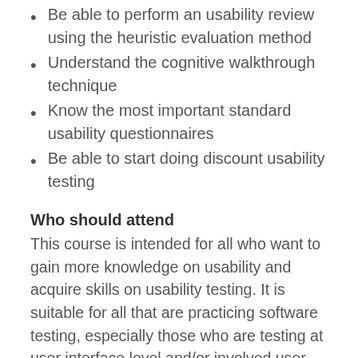Be able to perform an usability review using the heuristic evaluation method
Understand the cognitive walkthrough technique
Know the most important standard usability questionnaires
Be able to start doing discount usability testing
Who should attend
This course is intended for all who want to gain more knowledge on usability and acquire skills on usability testing. It is suitable for all that are practicing software testing, especially those who are testing at user interface level and/or involved user acceptance testing.
Tutor: Erik van Veenendaal